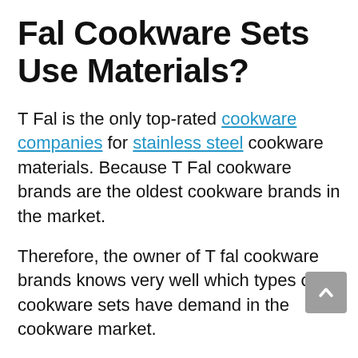Fal Cookware Sets Use Materials?
T Fal is the only top-rated cookware companies for stainless steel cookware materials. Because T Fal cookware brands are the oldest cookware brands in the market.
Therefore, the owner of T fal cookware brands knows very well which types of cookware sets have demand in the cookware market.
And all of you know very well stainless steel is the only choice of any home chef's and